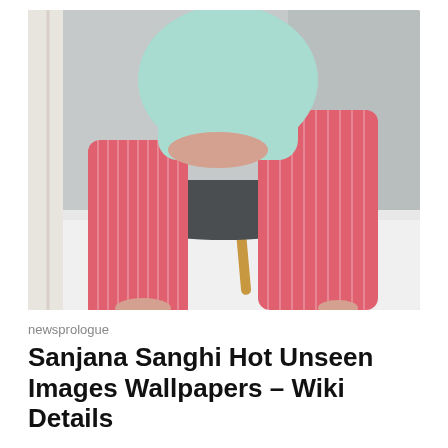[Figure (photo): A person wearing red/pink striped wide-leg trousers and a mint/turquoise top, seated on a modern dark grey chair with wooden legs, against a grey wall background with white bedding visible below.]
newsprologue
Sanjana Sanghi Hot Unseen Images Wallpapers – Wiki Details